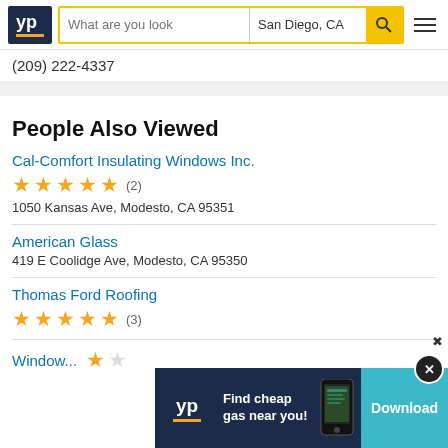YP - What are you looking for? | San Diego, CA
(209) 222-4337
People Also Viewed
Cal-Comfort Insulating Windows Inc. | 5 stars (2) | 1050 Kansas Ave, Modesto, CA 95351
American Glass | 419 E Coolidge Ave, Modesto, CA 95350
Thomas Ford Roofing | 5 stars (3)
Windows... | 1 star
[Figure (screenshot): Ad banner: YP logo, Find cheap gas near you!, phone image, Download button]